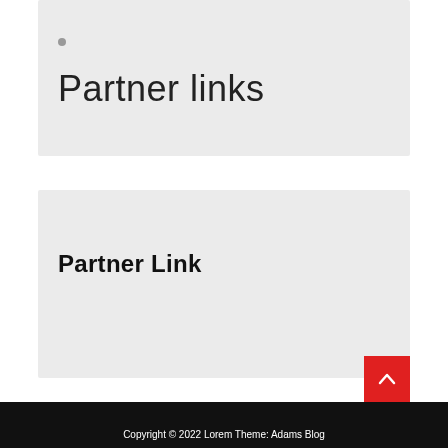•
Partner links
Partner Link
Copyright © 2022 Lorem Theme: Adams Blog